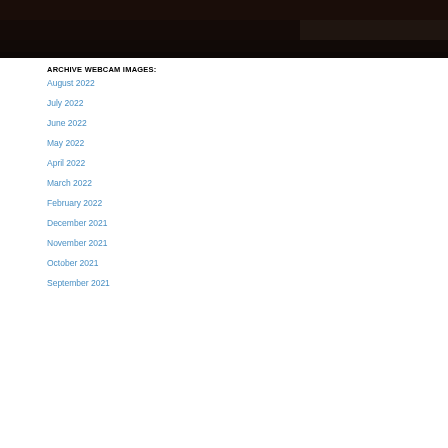[Figure (photo): Dark webcam image, night or low-light scene, spanning full width at top of page]
ARCHIVE WEBCAM IMAGES:
August 2022
July 2022
June 2022
May 2022
April 2022
March 2022
February 2022
December 2021
November 2021
October 2021
September 2021